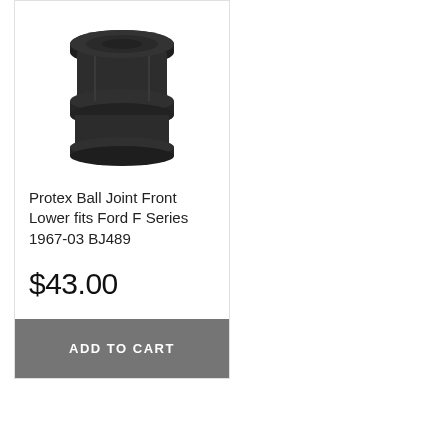[Figure (photo): A dark grey/black ball joint component (Protex BJ489) shown from above against a white background.]
Protex Ball Joint Front Lower fits Ford F Series 1967-03 BJ489
$43.00
ADD TO CART